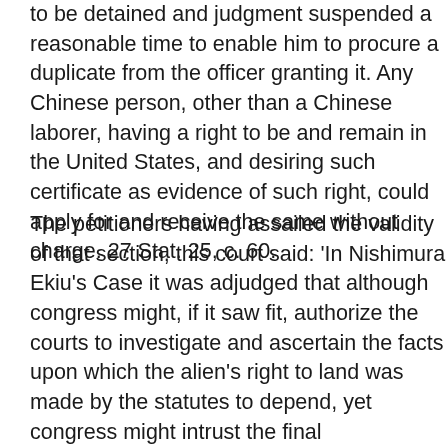to be detained and judgment suspended a reasonable time to enable him to procure a duplicate from the officer granting it. Any Chinese person, other than a Chinese laborer, having a right to be and remain in the United States, and desiring such certificate as evidence of such right, could apply for and receive the same without charge. 27 Stat. 25, c. 60.
The petitioners having assailed the validity of that section, this court said: 'In Nishimura Ekiu's Case it was adjudged that although congress might, if it saw fit, authorize the courts to investigate and ascertain the facts upon which the alien's right to land was made by the statutes to depend, yet congress might intrust the final determination of those facts to an executive officer, and that, if it did so, his order was due process of law, and no other tribunal, unless expressly authorized by law to do so, was at liberty to re-examine the evidence on which he acted or to controvert its sufficiency. 142 U.S. 660 , 12 Sup. Ct. 336. The power to exclude aliens and the power to expel them rest upon one foundation, an...